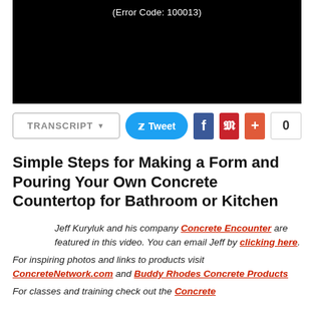[Figure (screenshot): Black video player box showing error text '(Error Code: 100013)']
TRANSCRIPT ▾  Tweet  f  Pinterest  +  0
Simple Steps for Making a Form and Pouring Your Own Concrete Countertop for Bathroom or Kitchen
Jeff Kuryluk and his company Concrete Encounter are featured in this video. You can email Jeff by clicking here. For inspiring photos and links to products visit ConcreteNetwork.com and Buddy Rhodes Concrete Products For classes and training check out the Concrete